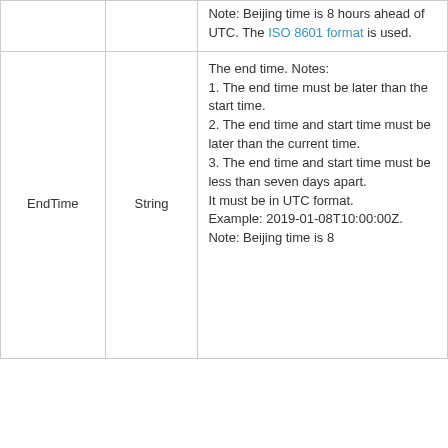| Parameter | Type | Description |
| --- | --- | --- |
|  |  | Note: Beijing time is 8 hours ahead of UTC. The ISO 8601 format is used. |
| EndTime | String | The end time. Notes: 1. The end time must be later than the start time. 2. The end time and start time must be later than the current time. 3. The end time and start time must be less than seven days apart. It must be in UTC format. Example: 2019-01-08T10:00:00Z. Note: Beijing time is 8 |